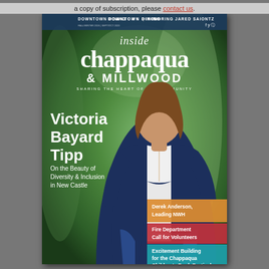a copy of subscription, please contact us.
[Figure (photo): Magazine cover of Inside Chappaqua & Millwood featuring Victoria Bayard Tipp on the cover with a green outdoor background. Cover includes headline 'Victoria Bayard Tipp – On the Beauty of Diversity & Inclusion in New Castle', teasers for Derek Anderson Leading NWH, Fire Department Call for Volunteers, and Excitement Building for the Chappaqua Children's Book Festival.]